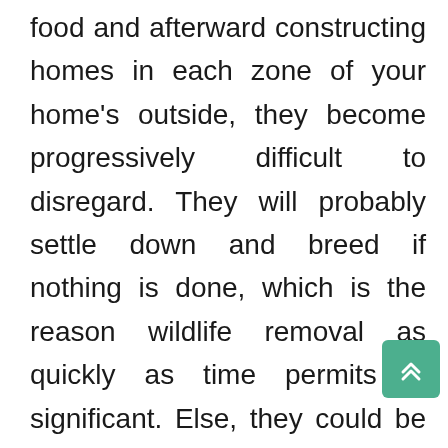food and afterward constructing homes in each zone of your home's outside, they become progressively difficult to disregard. They will probably settle down and breed if nothing is done, which is the reason wildlife removal as quickly as time permits is significant. Else, they could be there for some time, making it harder than it ought to dispose of them. There are a few creatures that are plainly risky to have around. It might sound odd; however, a few